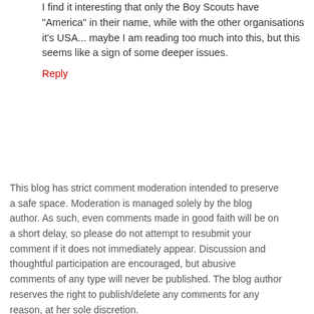I find it interesting that only the Boy Scouts have 'America' in their name, while with the other organisations it's USA... maybe I am reading too much into this, but this seems like a sign of some deeper issues.
Reply
This blog has strict comment moderation intended to preserve a safe space. Moderation is managed solely by the blog author. As such, even comments made in good faith will be on a short delay, so please do not attempt to resubmit your comment if it does not immediately appear. Discussion and thoughtful participation are encouraged, but abusive comments of any type will never be published. The blog author reserves the right to publish/delete any comments for any reason, at her sole discretion.